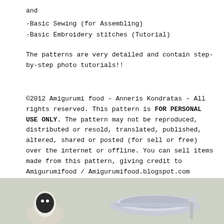and
-Basic Sewing (for Assembling)
-Basic Embroidery stitches (Tutorial)
The patterns are very detailed and contain step-by-step photo tutorials!!
©2012 Amigurumi food – Anneris Kondratas – All rights reserved. This pattern is FOR PERSONAL USE ONLY. The pattern may not be reproduced, distributed or resold, translated, published, altered, shared or posted (for sell or free) over the internet or offline. You can sell items made from this pattern, giving credit to Amigurumifood / Amigurumifood.blogspot.com
[Figure (photo): Photo of amigurumi food items and sewing/crocheting tools on a light background]